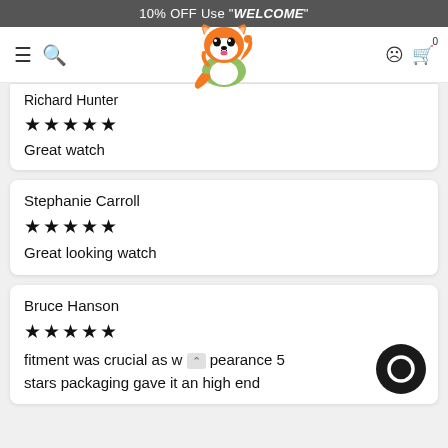10% OFF Use "WELCOME"
[Figure (logo): Cartoon fox mascot logo giving thumbs up]
Richard Hunter
★★★★★
Great watch
Stephanie Carroll
★★★★★
Great looking watch
Bruce Hanson
★★★★★
fitment was crucial as w    pearance 5 stars  packaging gave it an high end